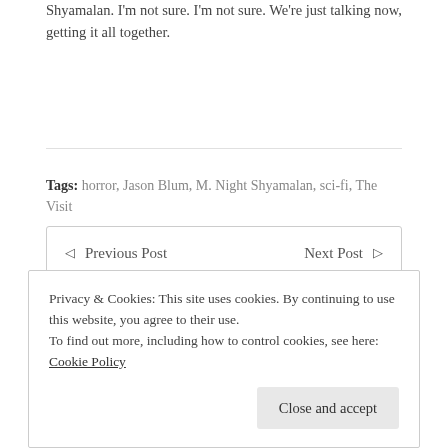Shyamalan. I'm not sure. I'm not sure. We're just talking now, getting it all together.
Tags: horror, Jason Blum, M. Night Shyamalan, sci-fi, The Visit
Previous Post   Next Post
Privacy & Cookies: This site uses cookies. By continuing to use this website, you agree to their use.
To find out more, including how to control cookies, see here: Cookie Policy
Close and accept
frontrowfeatures.com. An award-winning journalist, she had